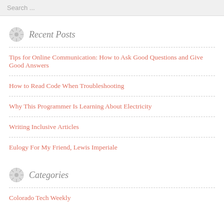Search ...
Recent Posts
Tips for Online Communication: How to Ask Good Questions and Give Good Answers
How to Read Code When Troubleshooting
Why This Programmer Is Learning About Electricity
Writing Inclusive Articles
Eulogy For My Friend, Lewis Imperiale
Categories
Colorado Tech Weekly